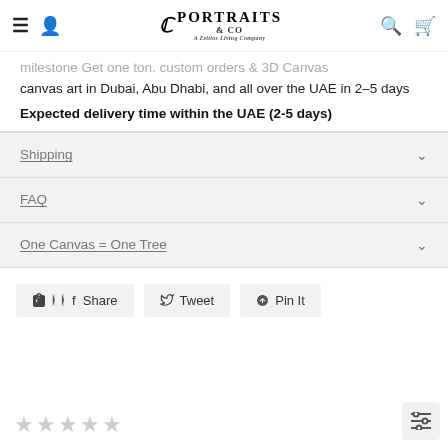Portraits & Co — A Zeitios Living Company
milestone Get one ton. custom orders & 3D Canvas canvas art in Dubai, Abu Dhabi, and all over the UAE in 2–5 days
Expected delivery time within the UAE (2-5 days)
Shipping
FAQ
One Canvas = One Tree
Share   Tweet   Pin It
★☆☆☆☆ (star rating row)